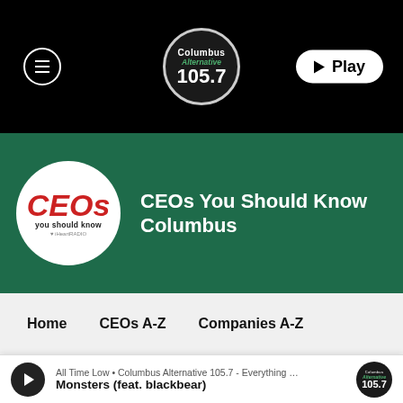[Figure (screenshot): Columbus Alternative 105.7 radio station header with hamburger menu, station logo circle, and Play button on black background]
CEOs You Should Know Columbus
[Figure (logo): CEOs You Should Know circular logo with red CEOs text on white background]
Home
CEOs A-Z
Companies A-Z
All Time Low • Columbus Alternative 105.7 - Everything …
Monsters (feat. blackbear)